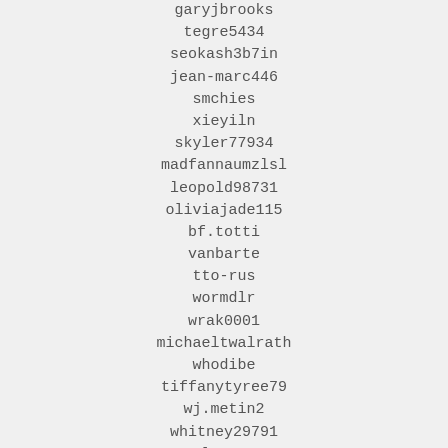garyjbrooks
tegre5434
seokash3b7in
jean-marc446
smchies
xieyiln
skyler77934
madfannaumzlsl
leopold98731
oliviajade115
bf.totti
vanbarte
tto-rus
wormdlr
wrak0001
michaeltwalrath
whodibe
tiffanytyree79
wj.metin2
whitney29791
strzelamenterem
honeydrops.4_ayas-shop
steven25478
lauraisradd